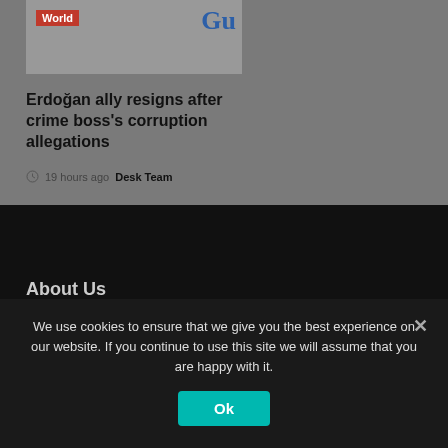[Figure (photo): News article thumbnail image with 'World' red badge label and partial 'Gu' logo visible on right side]
Erdoğan ally resigns after crime boss's corruption allegations
19 hours ago  Desk Team
About Us
We use cookies to ensure that we give you the best experience on our website. If you continue to use this site we will assume that you are happy with it.